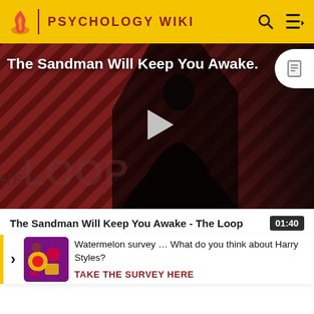PSYCHOLOGY WIKI
[Figure (screenshot): Video thumbnail showing a dark figure in a black cape against a red-and-black diagonal striped background with 'THE LOOP' text overlay and a white play button in the center. Title reads 'The Sandman Will Keep You Awake.']
The Sandman Will Keep You Awake - The Loop
It is n... is typ... relati...
[Figure (screenshot): Survey popup overlay with yellow left border, arrow, colorful thumbnail image, text 'Watermelon survey … What do you think about Harry Styles?' and CTA 'TAKE THE SURVEY HERE']